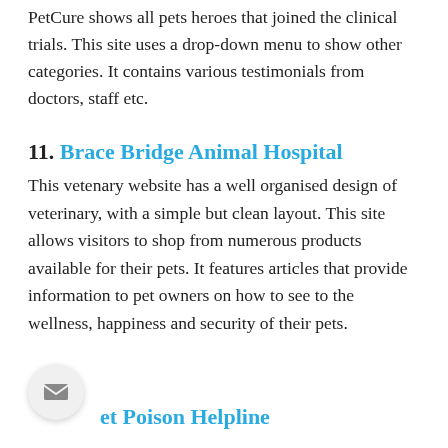PetCure shows all pets heroes that joined the clinical trials. This site uses a drop-down menu to show other categories. It contains various testimonials from doctors, staff etc.
11. Brace Bridge Animal Hospital
This vetenary website has a well organised design of veterinary, with a simple but clean layout. This site allows visitors to shop from numerous products available for their pets. It features articles that provide information to pet owners on how to see to the wellness, happiness and security of their pets.
12. Pet Poison Helpline